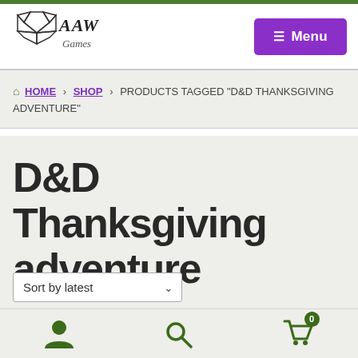[Figure (logo): AAW Games logo with a d20 die icon and stylized text]
≡ Menu
HOME > SHOP > PRODUCTS TAGGED "D&D THANKSGIVING ADVENTURE"
D&D Thanksgiving adventure
Sort by latest